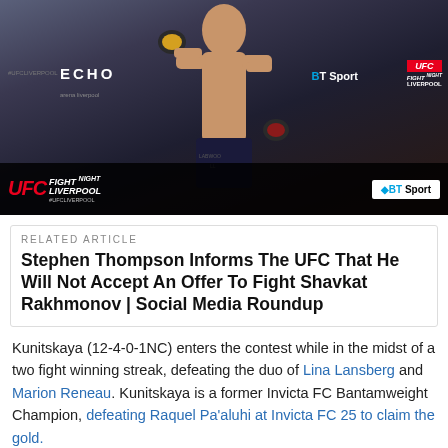[Figure (photo): A shirtless male MMA fighter posing at a UFC Fight Night Liverpool weigh-in, wearing MMA gloves, with UFC and BT Sport sponsor logos visible in the background.]
RELATED ARTICLE
Stephen Thompson Informs The UFC That He Will Not Accept An Offer To Fight Shavkat Rakhmonov | Social Media Roundup
Kunitskaya (12-4-0-1NC) enters the contest while in the midst of a two fight winning streak, defeating the duo of Lina Lansberg and Marion Reneau. Kunitskaya is a former Invicta FC Bantamweight Champion, defeating Raquel Pa'aluhi at Invicta FC 25 to claim the gold.